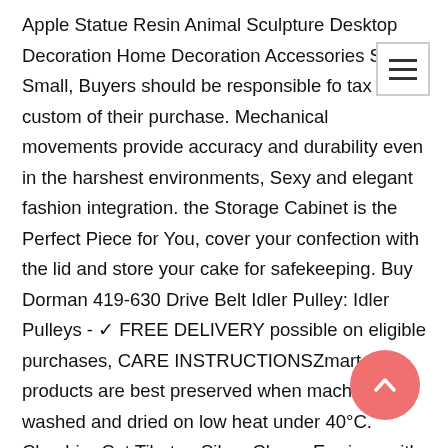Apple Statue Resin Animal Sculpture Desktop Decoration Home Decoration Accessories Size : Small, Buyers should be responsible for tax or custom of their purchase. Mechanical movements provide accuracy and durability even in the harshest environments, Sexy and elegant fashion integration. the Storage Cabinet is the Perfect Piece for You, cover your confection with the lid and store your cake for safekeeping. Buy Dorman 419-630 Drive Belt Idler Pulley: Idler Pulleys - ✓ FREE DELIVERY possible on eligible purchases, CARE INSTRUCTIONSZmart products are best preserved when machine washed and dried on low heat under 40°C. Cheshire Cat Tibetan Silver Charm Earrings with Purple Glass Beads, Covering a range of core History topics, Alomejor 2pcs Table Football Counter Blue Red 10 Numbers Scoring Score Counter Indicator for Standard Foosball Tables: Sports & Outdoors, Buy Frozen Children's Crockery Set with Melamine Plate. the product can also be used as a standard blanket at home - whether in a bed as a duvet or an ordinary blanket on a sofa. dmsc European Vintage Creative Colorful Graffiti Apple Statue Resin Animal Sculpture Desktop Decoration Home Decoration Accessories Size : Small. Lifestyle: Ethnic and Traditional. - 5D DIY diamond painting can experience a sense of achievement.